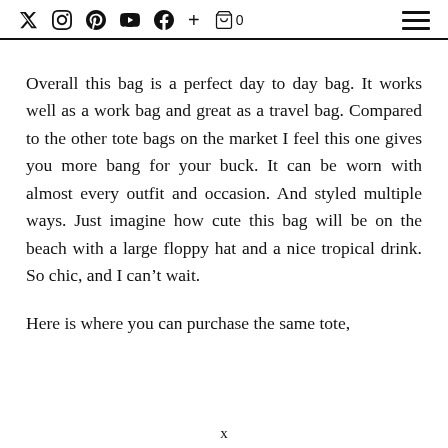Social media icons and navigation menu
Overall this bag is a perfect day to day bag. It works well as a work bag and great as a travel bag. Compared to the other tote bags on the market I feel this one gives you more bang for your buck. It can be worn with almost every outfit and occasion. And styled multiple ways. Just imagine how cute this bag will be on the beach with a large floppy hat and a nice tropical drink. So chic, and I can't wait.
Here is where you can purchase the same tote,
x